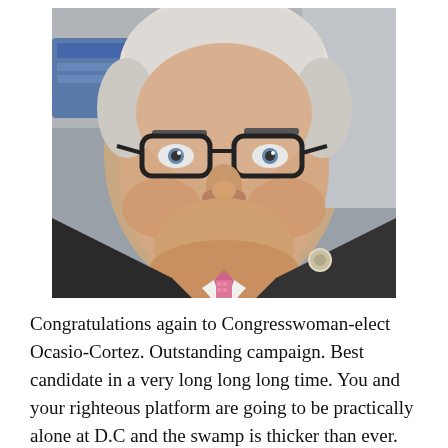[Figure (photo): Close-up photo of a middle-aged man with white/grey hair wearing dark-rimmed glasses, a dark suit jacket, white dress shirt, and a pink patterned tie. He has a congressional pin on his lapel and appears to be making a somewhat skeptical or bemused facial expression.]
Congratulations again to Congresswoman-elect Ocasio-Cortez. Outstanding campaign. Best candidate in a very long long long time. You and your righteous platform are going to be practically alone at D.C and the swamp is thicker than ever. Then there is that embarrassing American Senator Tu...